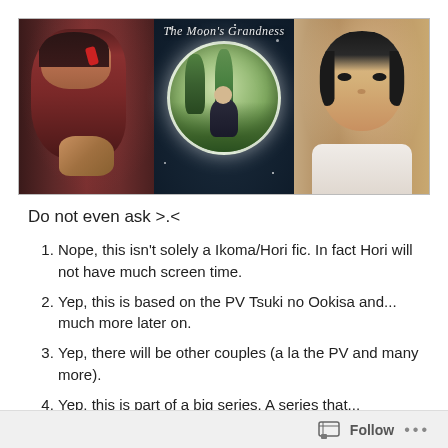[Figure (illustration): Fan fiction banner image titled 'The Moon's Grandness' showing three characters: a dark-haired person on the left, a circular moon-like frame in the center with a figure, and a young person on the right with short dark hair.]
Do not even ask >.<
Nope, this isn't solely a Ikoma/Hori fic. In fact Hori will not have much screen time.
Yep, this is based on the PV Tsuki no Ookisa and... much more later on.
Yep, there will be other couples (a la the PV and many more).
Yep, this is part of a big series. A series that...
Follow ...